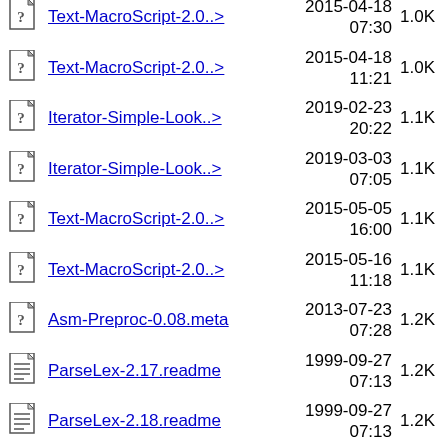Text-MacroScript-2.0..> 2015-04-18 07:30 1.0K
Text-MacroScript-2.0..> 2015-04-18 11:21 1.0K
Iterator-Simple-Look..> 2019-02-23 20:22 1.1K
Iterator-Simple-Look..> 2019-03-03 07:05 1.1K
Text-MacroScript-2.0..> 2015-05-05 16:00 1.1K
Text-MacroScript-2.0..> 2015-05-16 11:18 1.1K
Asm-Preproc-0.08.meta 2013-07-23 07:28 1.2K
ParseLex-2.17.readme 1999-09-27 07:13 1.2K
ParseLex-2.18.readme 1999-09-27 07:13 1.2K
ParseLex-2.19.readme 1999-09-27 07:13 1.2K
ParseLex-2.20.readme 1999-09-27 07:13 1.2K
ParseLex-2.21.readme 1999-09-27 1.2K